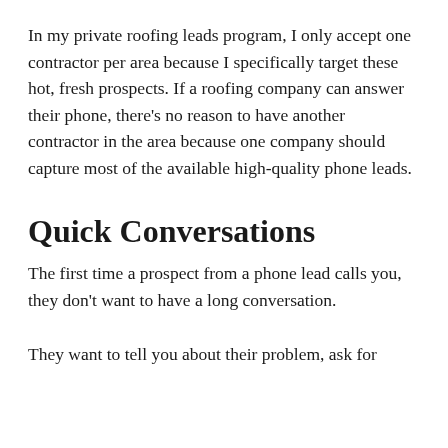In my private roofing leads program, I only accept one contractor per area because I specifically target these hot, fresh prospects. If a roofing company can answer their phone, there’s no reason to have another contractor in the area because one company should capture most of the available high-quality phone leads.
Quick Conversations
The first time a prospect from a phone lead calls you, they don’t want to have a long conversation.
They want to tell you about their problem, ask for